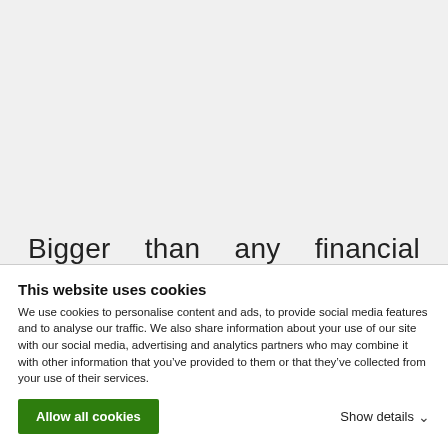Bigger than any financial scandal or bishops' resignation was the story of hundreds of illegal migrants who drowned off the coast of Libya when
This website uses cookies
We use cookies to personalise content and ads, to provide social media features and to analyse our traffic. We also share information about your use of our site with our social media, advertising and analytics partners who may combine it with other information that you've provided to them or that they've collected from your use of their services.
Allow all cookies
Show details